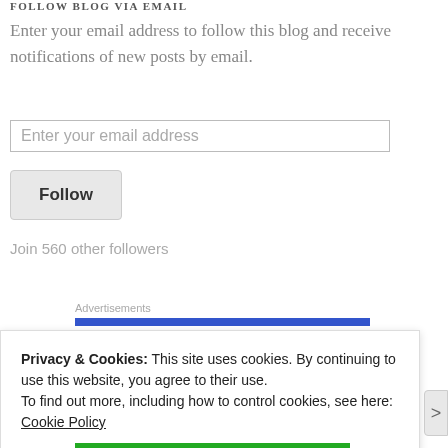FOLLOW BLOG VIA EMAIL
Enter your email address to follow this blog and receive notifications of new posts by email.
Enter your email address
Follow
Join 560 other followers
Advertisements
Privacy & Cookies: This site uses cookies. By continuing to use this website, you agree to their use.
To find out more, including how to control cookies, see here: Cookie Policy
Close and accept